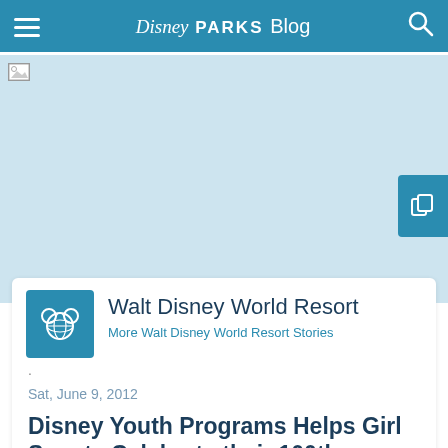Disney Parks Blog
[Figure (photo): Hero image area - light blue placeholder with broken image icon]
Walt Disney World Resort
More Walt Disney World Resort Stories
.
Sat, June 9, 2012
Disney Youth Programs Helps Girl Scouts Celebrate their 100th